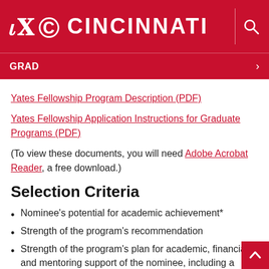[Figure (logo): University of Cincinnati logo with UC monogram and CINCINNATI text in white on red background, with search icon]
GRAD
Yates Fellowship Program Description (PDF)
Yates Fellowship Application Instructions for Graduate Programs (PDF)
(To view these documents, you will need Adobe Acrobat Reader, a free download.)
Selection Criteria
Nominee's potential for academic achievement*
Strength of the program's recommendation
Strength of the program's plan for academic, financial and mentoring support of the nominee, including a timeline and proposal for the use of